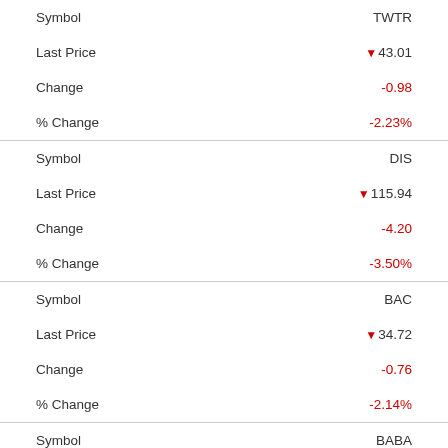| Field | Value |
| --- | --- |
| Symbol | TWTR |
| Last Price | ▼43.01 |
| Change | -0.98 |
| % Change | -2.23% |
| Symbol | DIS |
| Last Price | ▼115.94 |
| Change | -4.20 |
| % Change | -3.50% |
| Symbol | BAC |
| Last Price | ▼34.72 |
| Change | -0.76 |
| % Change | -2.14% |
| Symbol | BABA |